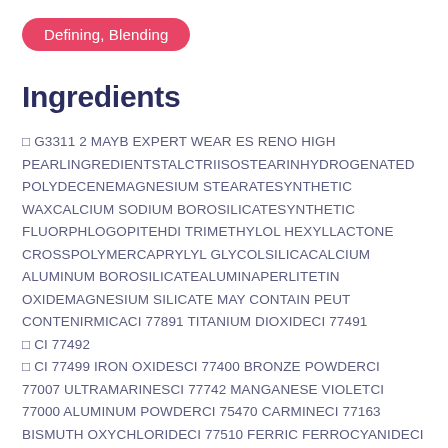Defining, Blending
Ingredients
□ G3311 2 MAYB EXPERT WEAR ES RENO HIGH PEARLINGREDIENTSTALCTRIISOSTEARINHYDROGENATED POLYDECENEMAGNESIUM STEARATESYNTHETIC WAXCALCIUM SODIUM BOROSILICATESYNTHETIC FLUORPHLOGOPITEHDI TRIMETHYLOL HEXYLLACTONE CROSSPOLYMERCAPRYLYL GLYCOLSILICACALCIUM ALUMINUM BOROSILICATEALUMINAPERLITETIN OXIDEMAGNESIUM SILICATE MAY CONTAIN PEUT CONTENIRMICACI 77891 TITANIUM DIOXIDECI 77491 □ CI 77492 □ CI 77499 IRON OXIDESCI 77400 BRONZE POWDERCI 77007 ULTRAMARINESCI 77742 MANGANESE VIOLETCI 77000 ALUMINUM POWDERCI 75470 CARMINECI 77163 BISMUTH OXYCHLORIDECI 77510 FERRIC FERROCYANIDECI 19140 YELLOW 5 LAKECI 77000 CHROMIUM OXIDE